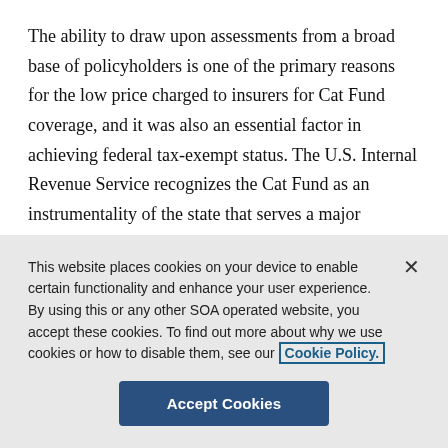The ability to draw upon assessments from a broad base of policyholders is one of the primary reasons for the low price charged to insurers for Cat Fund coverage, and it was also an essential factor in achieving federal tax-exempt status. The U.S. Internal Revenue Service recognizes the Cat Fund as an instrumentality of the state that serves a major purpose of not only providing resources for the payment of claims to rebuild after a catastrophic hurricane, but also serving to
This website places cookies on your device to enable certain functionality and enhance your user experience. By using this or any other SOA operated website, you accept these cookies. To find out more about why we use cookies or how to disable them, see our Cookie Policy.
Accept Cookies